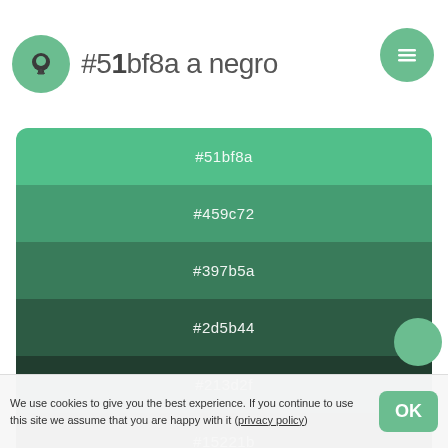#51bf8a a negro
[Figure (infographic): Color palette showing gradient from #51bf8a (medium green) to #000000 (black) in 7 steps: #51bf8a, #459c72, #397b5a, #2d5b44, #213d2f, #15221b, #000000/#000]
Pinturas
Pinturas exactas a juego
We use cookies to give you the best experience. If you continue to use this site we assume that you are happy with it (privacy policy)